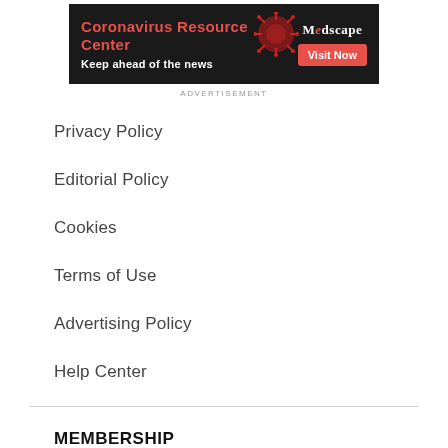[Figure (other): Medscape Coronavirus Resource Center advertisement banner with red title text, virus image, and Visit Now button]
ADVERTISEMENT
Privacy Policy
Editorial Policy
Cookies
Terms of Use
Advertising Policy
Help Center
MEMBERSHIP
Become a Member
About You
Professional Information
Newsletters & Alerts